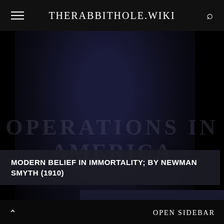THERABBITHOLE.WIKI
[Figure (photo): Dark navy/black textured background image, partially obscured, with faint watermark text reading 'OPERATIONS IN AMERICA']
MODERN BELIEF IN IMMORTALITY; BY NEWMAN SMYTH (1910)
[Figure (photo): Dark image panel with JONAS SALK label in gold text]
OPEN SIDEBAR